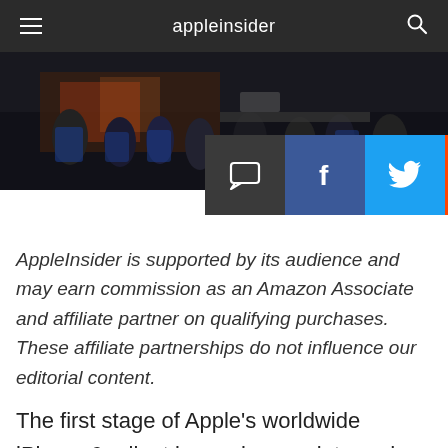appleinsider
[Figure (photo): Apple Store launch day crowd scene, dark interior with people and blue-shirted Apple employees visible. 'appleinsider' watermark in bottom right.]
[Figure (infographic): Four social sharing buttons: comments (dark gray), Facebook (blue), Twitter (light blue), Reddit (orange)]
AppleInsider is supported by its audience and may earn commission as an Amazon Associate and affiliate partner on qualifying purchases. These affiliate partnerships do not influence our editorial content.
The first stage of Apple's worldwide iPhone 6 rollout is nearly complete and launch day seems to have been successful, with huge lines forming at Apple Stores in nine countries from Australia to the United States [updated with video].